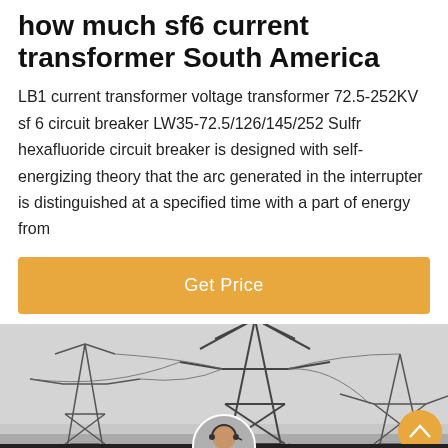how much sf6 current transformer South America
LB1 current transformer voltage transformer 72.5-252KV sf 6 circuit breaker LW35-72.5/126/145/252 Sulfr hexafluoride circuit breaker is designed with self-energizing theory that the arc generated in the interrupter is distinguished at a specified time with a part of energy from
Get Price
[Figure (photo): Photo of electrical power transmission towers/pylons with high voltage infrastructure, black and white/grey toned industrial image. Overlay at bottom shows a customer service representative avatar and a dark chat bar with 'Leave Message' and 'Chat Online' options.]